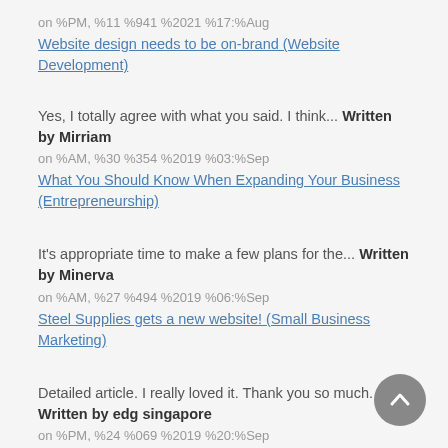on %PM, %11 %941 %2021 %17:%Aug
Website design needs to be on-brand (Website Development)
Yes, I totally agree with what you said. I think... Written by Mirriam on %AM, %30 %354 %2019 %03:%Sep
What You Should Know When Expanding Your Business (Entrepreneurship)
It's appropriate time to make a few plans for the... Written by Minerva on %AM, %27 %494 %2019 %06:%Sep
Steel Supplies gets a new website! (Small Business Marketing)
Detailed article. I really loved it. Thank you so much. Written by edg singapore on %PM, %24 %069 %2019 %20:%Sep
Guerilla Marketing... you don't have to be big to use it (Small Business Marketing)
[Figure (other): Back to top button — circular grey button with upward chevron arrow]